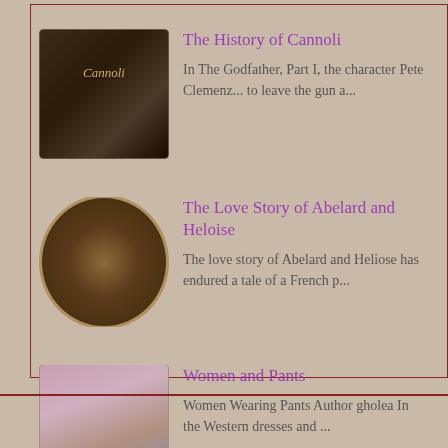[Figure (illustration): Thumbnail image for The History of Cannoli article - dark background cookbook style image of cannoli]
The History of Cannoli
In The Godfather, Part I, the character Pete Clemenz... to leave the gun a...
[Figure (illustration): Circular thumbnail painting of Abelard and Heloise - two women in period dress]
The Love Story of Abelard and Heloise
The love story of Abelard and Heliose has endured a tale of a French p...
[Figure (illustration): Vintage poster style thumbnail showing women in period dress - Women and Pants]
Women and Pants
Women Wearing Pants Author gholea In the Western dresses and ...